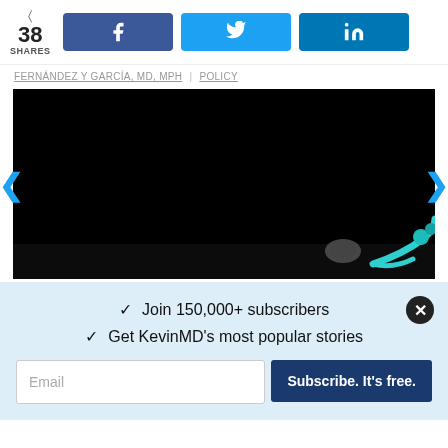38 SHARES
Facebook share button
Twitter share button
LinkedIn share button
FERNÁNDEZ Y GARCÍA, MD, MPH | POLICY
[Figure (photo): Dark image with a teal stethoscope visible at the bottom right corner against a black background]
✓ Join 150,000+ subscribers
✓ Get KevinMD's most popular stories
Email
Subscribe. It's free.